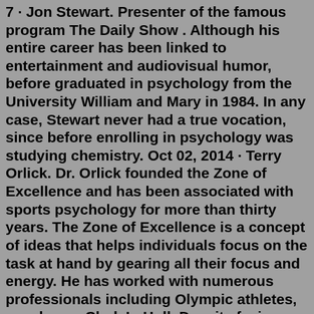7 · Jon Stewart. Presenter of the famous program The Daily Show . Although his entire career has been linked to entertainment and audiovisual humor, before graduated in psychology from the University William and Mary in 1984. In any case, Stewart never had a true vocation, since before enrolling in psychology was studying chemistry. Oct 02, 2014 · Terry Orlick. Dr. Orlick founded the Zone of Excellence and has been associated with sports psychology for more than thirty years. The Zone of Excellence is a concept of ideas that helps individuals focus on the task at hand by gearing all their focus and energy. He has worked with numerous professionals including Olympic athletes, coaches ... Clark L. Hull. Despite facing considerable adversity, Clark Leonard Hull managed to overcome struggles with his health and finances in order to become one of the most important American psychologists of the 20th-century. His early life was marked by bouts of illness, including a severe case of typhoid fever.Jan 23, 2010 · Psychology Corner starts this year with an